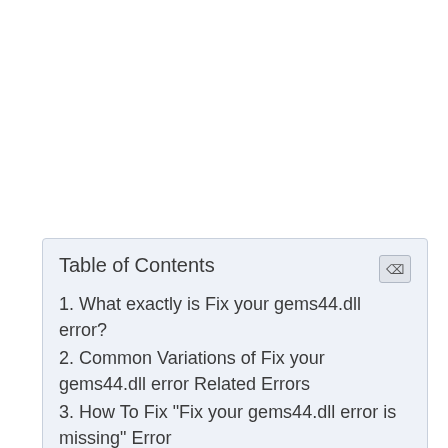Table of Contents
1. What exactly is Fix your gems44.dll error?
2. Common Variations of Fix your gems44.dll error Related Errors
3. How To Fix "Fix your gems44.dll error is missing" Error
4. Other Steps to Solve Fix your gems44.dll error Error